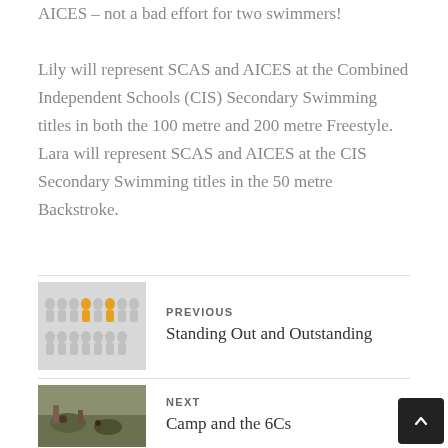AICES – not a bad effort for two swimmers!
Lily will represent SCAS and AICES at the Combined Independent Schools (CIS) Secondary Swimming titles in both the 100 metre and 200 metre Freestyle. Lara will represent SCAS and AICES at the CIS Secondary Swimming titles in the 50 metre Backstroke.
[Figure (illustration): Thumbnail image showing rows of grey human figures with two yellow figures standing out among them]
PREVIOUS
Standing Out and Outstanding
[Figure (photo): Thumbnail photo of children at an outdoor camp activity]
NEXT
Camp and the 6Cs